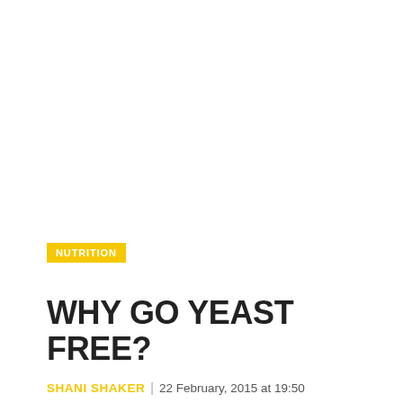NUTRITION
WHY GO YEAST FREE?
SHANI SHAKER | 22 February, 2015 at 19:50
👁 7836
Before I retrained as a nutritional therapist I could never lose weight and suffered bouts of fatigue, cravings for sugary foods, dark circles under the eyes and bad